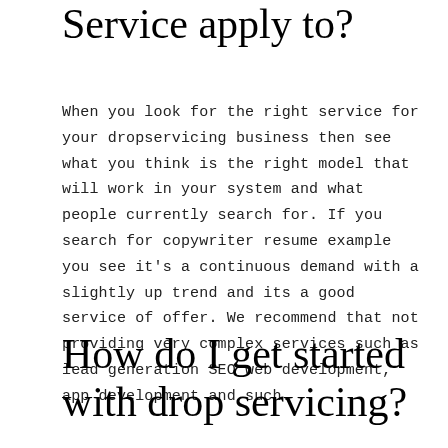Service apply to?
When you look for the right service for your dropservicing business then see what you think is the right model that will work in your system and what people currently search for. If you search for copywriter resume example you see it's a continuous demand with a slightly up trend and its a good service of offer. We recommend that not providing very complex services such as lead generation SEO web development, app development and such.
How do I get started with drop servicing?